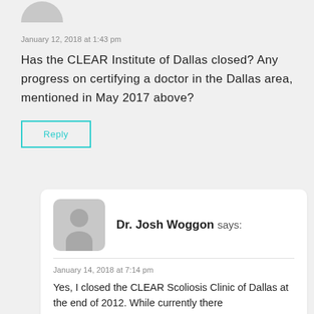[Figure (illustration): Partial gray avatar icon at top of page]
January 12, 2018 at 1:43 pm
Has the CLEAR Institute of Dallas closed? Any progress on certifying a doctor in the Dallas area, mentioned in May 2017 above?
Reply
[Figure (illustration): Gray avatar icon with silhouette of person for Dr. Josh Woggon]
Dr. Josh Woggon says:
January 14, 2018 at 7:14 pm
Yes, I closed the CLEAR Scoliosis Clinic of Dallas at the end of 2012. While currently there